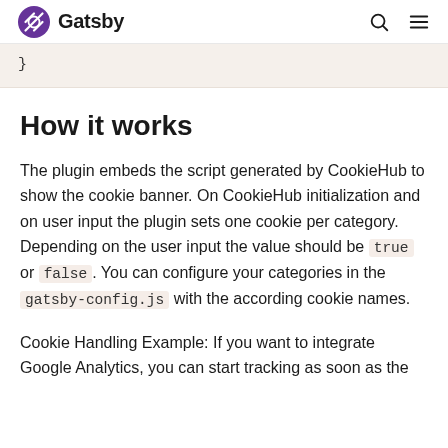Gatsby
}
How it works
The plugin embeds the script generated by CookieHub to show the cookie banner. On CookieHub initialization and on user input the plugin sets one cookie per category. Depending on the user input the value should be true or false. You can configure your categories in the gatsby-config.js with the according cookie names.
Cookie Handling Example: If you want to integrate Google Analytics, you can start tracking as soon as the